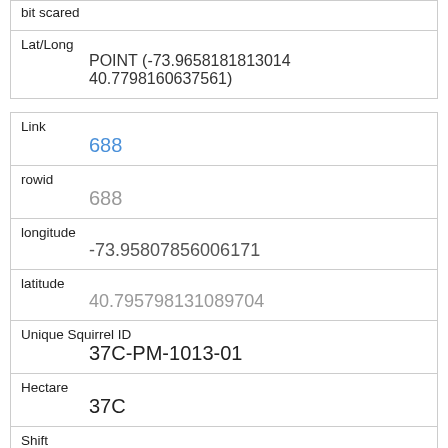| Lat/Long | POINT (-73.9658181813014 40.7798160637561) |
| Link | 688 |
| rowid | 688 |
| longitude | -73.95807856006171 |
| latitude | 40.795798131089704 |
| Unique Squirrel ID | 37C-PM-1013-01 |
| Hectare | 37C |
| Shift | PM |
| Date | 10132018 |
| Hectare Squirrel Number |  |